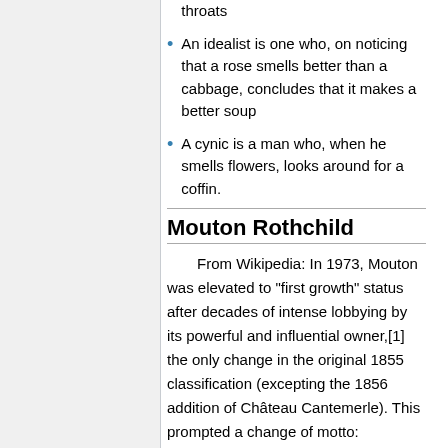throats
An idealist is one who, on noticing that a rose smells better than a cabbage, concludes that it makes a better soup
A cynic is a man who, when he smells flowers, looks around for a coffin.
Mouton Rothchild
From Wikipedia: In 1973, Mouton was elevated to "first growth" status after decades of intense lobbying by its powerful and influential owner,[1] the only change in the original 1855 classification (excepting the 1856 addition of Château Cantemerle). This prompted a change of motto: previously, the motto of the wine was Premier ne